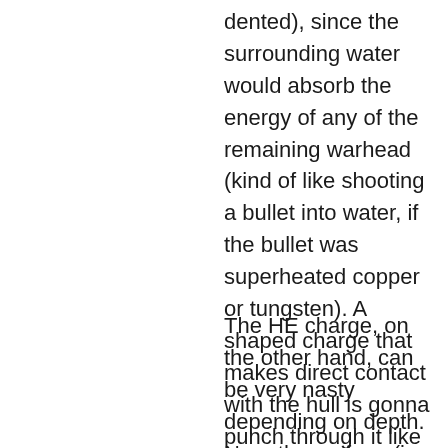dented), since the surrounding water would absorb the energy of any of the remaining warhead (kind of like shooting a bullet into water, if the bullet was superheated copper or tungsten). A shaped charge that makes direct contact with the hull is gonna punch through it like a supersonic nail.
The HE charge, on the other hand, can be very nasty depending on depth. Near the surface (i.e. the boat is surfaced, if not on foils) and HE charge would mess up the foil, but the hull would handle it. At depth, however, your boat is well and